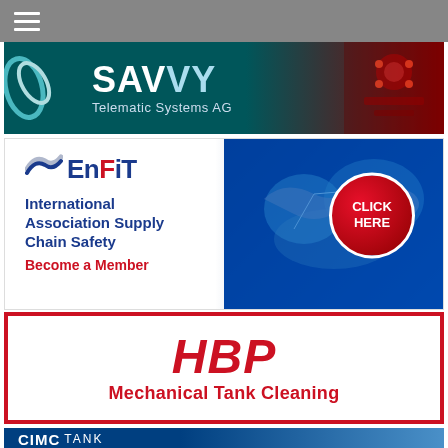[Figure (screenshot): Navigation bar with hamburger menu icon on gray background]
[Figure (logo): SAVVY Telematic Systems AG advertisement banner with teal/dark red gradient background]
[Figure (logo): ENFIT International Association Supply Chain Safety - Become a Member advertisement with Click Here button and world map]
[Figure (logo): HBP Mechanical Tank Cleaning advertisement - red text on white with red border]
[Figure (logo): CIMC TANK advertisement banner, partially visible at bottom]